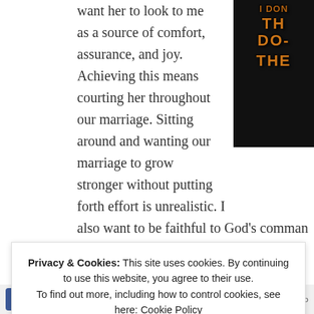want her to look to me as a source of comfort, assurance, and joy. Achieving this means courting her throughout our marriage. Sitting around and wanting our marriage to grow stronger without putting forth effort is unrealistic. I also want to be faithful to God's command means serving her. Over and over Jesus course of 18 years of marriage, I have le simply doing things for her is a start, but
[Figure (illustration): Partial view of a book or graphic with orange stylized text on dark background, partially cut off on the right side.]
Privacy & Cookies: This site uses cookies. By continuing to use this website, you agree to their use. To find out more, including how to control cookies, see here: Cookie Policy
Close and accept